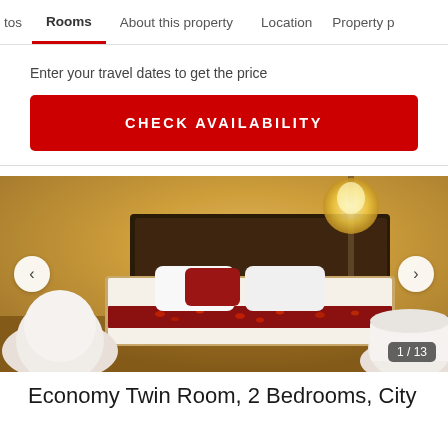tos   Rooms   About this property   Location   Property p
Enter your travel dates to get the price
CHECK AVAILABILITY
[Figure (photo): Hotel room photo showing a double bed with white linens, red accent pillows, flower petals on the bed, warm ambient lighting, and a lamp in the background. White ceramic items in foreground. Navigation arrows on sides. Counter shows 1/13.]
Economy Twin Room, 2 Bedrooms, City